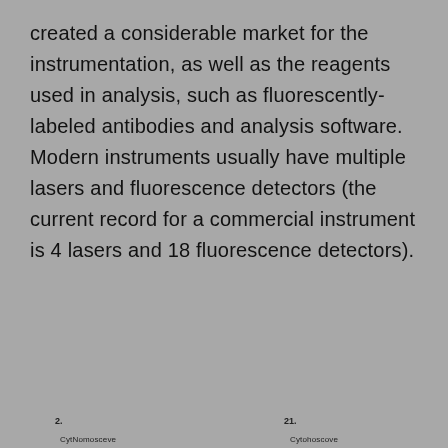created a considerable market for the instrumentation, as well as the reagents used in analysis, such as fluorescently-labeled antibodies and analysis software. Modern instruments usually have multiple lasers and fluorescence detectors (the current record for a commercial instrument is 4 lasers and 18 fluorescence detectors).